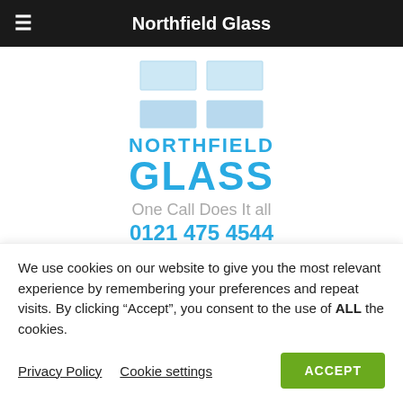Northfield Glass
[Figure (logo): Northfield Glass window pane logo — four rectangles arranged in a 2x2 grid with a cross divider, light blue fill]
NORTHFIELD GLASS
One Call Does It all
0121 475 4544
[Figure (infographic): Four feature buttons: No Call Out Charge (blue), Insurance Approved (green), Local Engineers (blue, partially visible), Same Day Response (blue, partially visible)]
We use cookies on our website to give you the most relevant experience by remembering your preferences and repeat visits. By clicking “Accept”, you consent to the use of ALL the cookies.
Privacy Policy
Cookie settings
ACCEPT